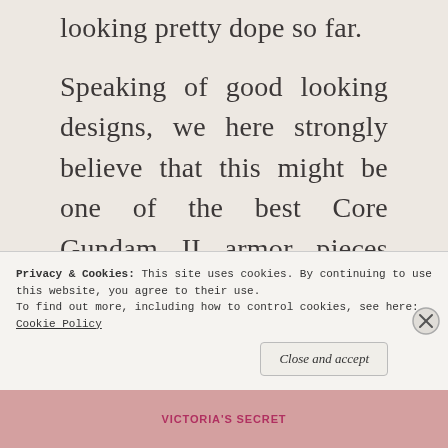looking pretty dope so far.
Speaking of good looking designs, we here strongly believe that this might be one of the best Core Gundam II armor pieces that we have seen to date. Because from what we are seeing here it looks as if there were alot of thought being given in the
Privacy & Cookies: This site uses cookies. By continuing to use this website, you agree to their use.
To find out more, including how to control cookies, see here: Cookie Policy
Close and accept